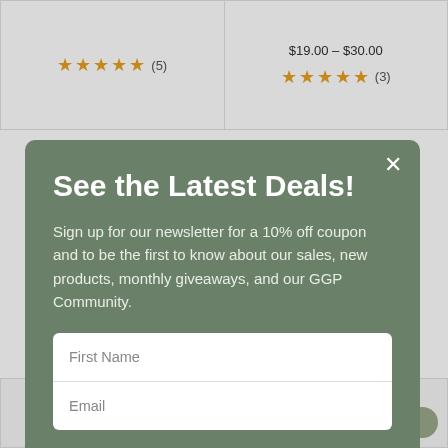$19.00 – $30.00
[Figure (other): 5 gold stars with review count (5)]
[Figure (other): 5 gold stars with review count (3)]
See the Latest Deals!
Sign up for our newsletter for a 10% off coupon and to be the first to know about our sales, new products, monthly giveaways, and our GGP Community.
First Name
Email
SIGN UP
This site is protected by reCAPTCHA and the Google Privacy Policy and Terms of Service apply.
Self Love Disc and Heart Necklace
Birthstone B... Necklace – Choo...
Contact Us